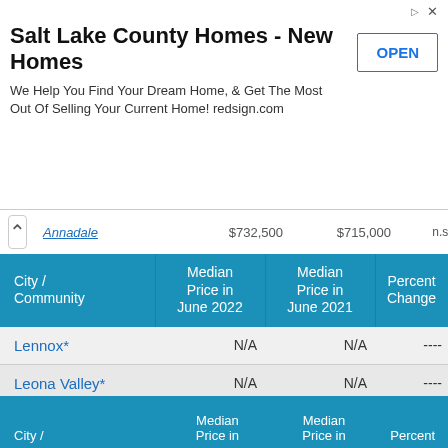[Figure (infographic): Advertisement banner for Salt Lake County Homes - New Homes. Text: 'We Help You Find Your Dream Home, & Get The Most Out Of Selling Your Current Home! redsign.com' with an OPEN button.]
| City / Community | Median Price in June 2022 | Median Price in June 2021 | Percent Change |
| --- | --- | --- | --- |
| Lennox* | N/A | N/A | ---- |
| Leona Valley* | N/A | N/A | ---- |
| Littlerock* | $416,000 | $400,000 | 4.0% |
| Llano* | $499,000 | N/A | N/A |
| Lomita | $817,500 | $821,500 | -0.5% |